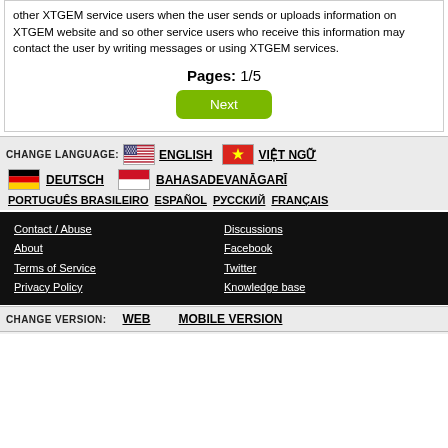other XTGEM service users when the user sends or uploads information on XTGEM website and so other service users who receive this information may contact the user by writing messages or using XTGEM services.
Pages: 1/5
[Figure (other): Next button - green rounded rectangle]
CHANGE LANGUAGE: ENGLISH  VIỆT NGỮ  DEUTSCH  BAHASADEVANĀGARĪ  PORTUGUÊS BRASILEIRO  ESPAÑOL  РУССКИЙ  FRANÇAIS
Contact / Abuse
About
Terms of Service
Privacy Policy
Discussions
Facebook
Twitter
Knowledge base
CHANGE VERSION: WEB  MOBILE VERSION